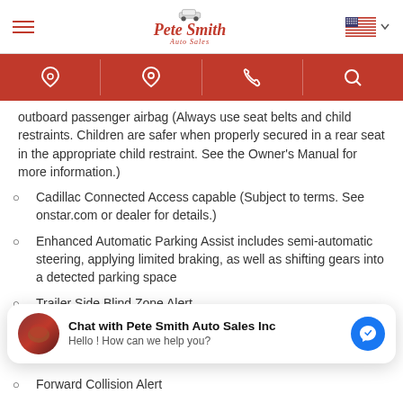Pete Smith Auto Sales
outboard passenger airbag (Always use seat belts and child restraints. Children are safer when properly secured in a rear seat in the appropriate child restraint. See the Owner's Manual for more information.)
Cadillac Connected Access capable (Subject to terms. See onstar.com or dealer for details.)
Enhanced Automatic Parking Assist includes semi-automatic steering, applying limited braking, as well as shifting gears into a detected parking space
Trailer Side Blind Zone Alert
Forward Collision Alert